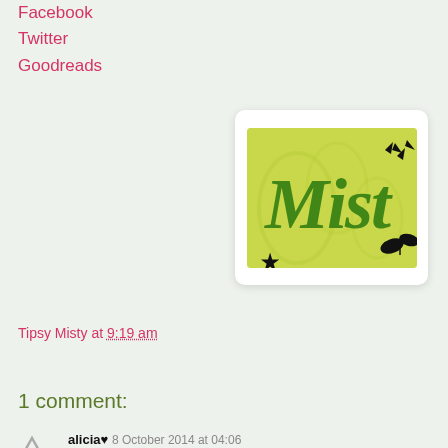Facebook
Twitter
Goodreads
[Figure (logo): Tipsy Misty blog logo: green grunge-style lettering reading 'Mist' on a yellow-green decorative background with butterfly silhouettes]
Tipsy Misty at 9:19 am
Share
1 comment:
alicia♥ 8 October 2014 at 04:06
I kind of, um, sworn off any Becca Fitzpatrick books after Hush, Hush so I'm not sure how I'm dealing with her next book! Many have promised that it's much better than hush hush... so... might just give this thriller a go :)